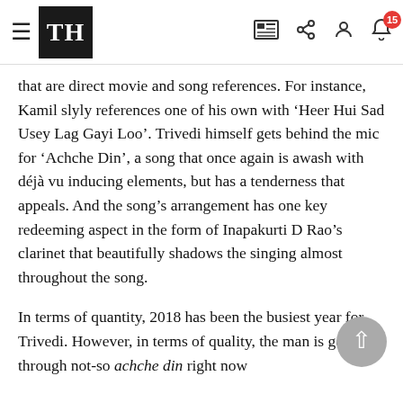TH — The Hindu navigation bar with hamburger menu, logo, and icons (newspaper, share, user, bell with badge 15)
that are direct movie and song references. For instance, Kamil slyly references one of his own with ‘Heer Hui Sad Usey Lag Gayi Loo’. Trivedi himself gets behind the mic for ‘Achche Din’, a song that once again is awash with déjà vu inducing elements, but has a tenderness that appeals. And the song’s arrangement has one key redeeming aspect in the form of Inapakurti D Rao’s clarinet that beautifully shadows the singing almost throughout the song.
In terms of quantity, 2018 has been the busiest year for Trivedi. However, in terms of quality, the man is going through not-so achche din right now